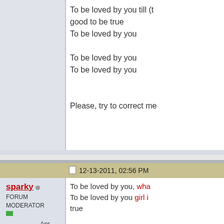To be loved by you till (t... good to be true
To be loved by you

To be loved by you
To be loved by you

Please, try to correct me
12-13-2011, 02:56 PM
sparky
FORUM MODERATOR
Join Date: Apr 2011
Location: Ontario Canada
Posts: 1,114
To be loved by you, wha...
To be loved by you girl i... true

I am pretty sure these ly